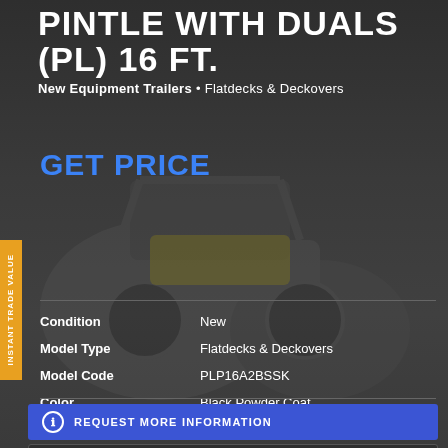PINTLE WITH DUALS (PL) 16 FT.
New Equipment Trailers • Flatdecks & Deckovers
GET PRICE
| Field | Value |
| --- | --- |
| Condition | New |
| Model Type | Flatdecks & Deckovers |
| Model Code | PLP16A2BSSK |
| Color | Black Powder Coat |
REQUEST MORE INFORMATION
CALCULATE PAYMENT